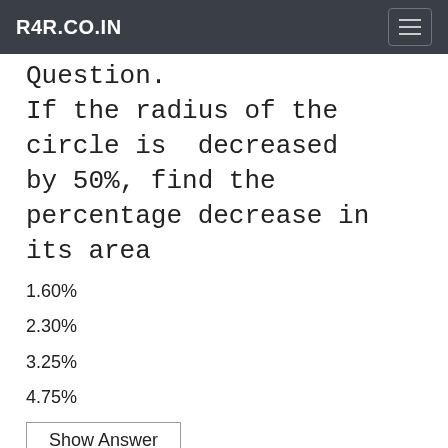R4R.CO.IN
Question.
If the radius of the circle is  decreased by 50%, find the percentage decrease in its area
1.60%
2.30%
3.25%
4.75%
Show Answer